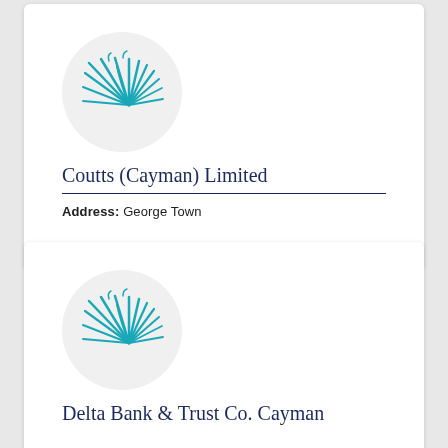[Figure (logo): Coutts bank logo: teal palm leaf/fan design inside a light gray circle]
Coutts (Cayman) Limited
Address: George Town
[Figure (logo): Coutts bank logo: teal palm leaf/fan design inside a light gray circle]
Delta Bank & Trust Co. Cayman